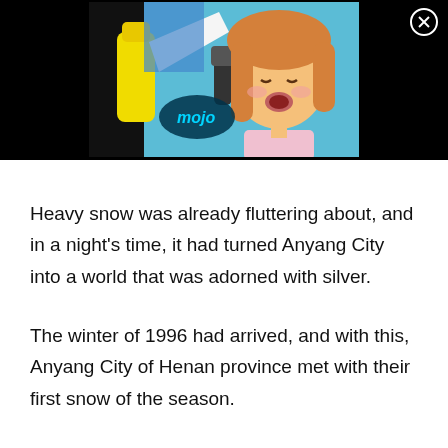[Figure (screenshot): Anime screenshot showing a girl with orange/brown hair singing into a microphone, with a yellow object on the left. A 'mojo' logo watermark is visible. The image is framed by a black background. A close/X button is in the top-right corner.]
Heavy snow was already fluttering about, and in a night's time, it had turned Anyang City into a world that was adorned with silver.
The winter of 1996 had arrived, and with this, Anyang City of Henan province met with their first snow of the season.